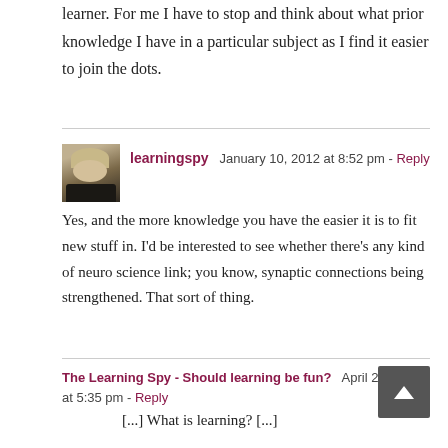learner. For me I have to stop and think about what prior knowledge I have in a particular subject as I find it easier to join the dots.
learningspy  January 10, 2012 at 8:52 pm - Reply

Yes, and the more knowledge you have the easier it is to fit new stuff in. I’d be interested to see whether there’s any kind of neuro science link; you know, synaptic connections being strengthened. That sort of thing.
The Learning Spy - Should learning be fun?  April 22, 2012 at 5:35 pm - Reply

[...] What is learning? [...]